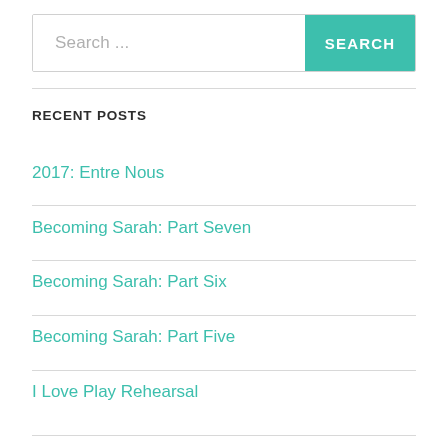Search ...
RECENT POSTS
2017: Entre Nous
Becoming Sarah: Part Seven
Becoming Sarah: Part Six
Becoming Sarah: Part Five
I Love Play Rehearsal